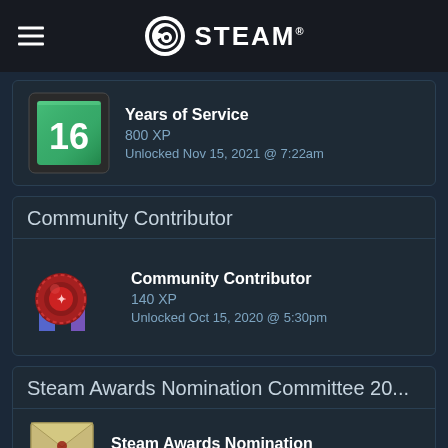STEAM®
[Figure (illustration): Steam badge: Years of Service, number 16 on teal/green square badge with dark background gradient]
Years of Service
800 XP
Unlocked Nov 15, 2021 @ 7:22am
Community Contributor
[Figure (illustration): Community Contributor badge: red wax seal with Steam logo on blue/purple ribbon/banner]
Community Contributor
140 XP
Unlocked Oct 15, 2020 @ 5:30pm
Steam Awards Nomination Committee 20...
Steam Awards Nomination